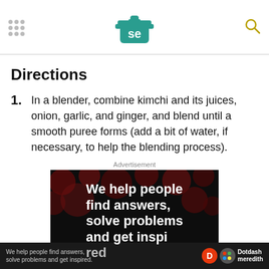SE (Serious Eats logo)
Directions
In a blender, combine kimchi and its juices, onion, garlic, and ginger, and blend until a smooth puree forms (add a bit of water, if necessary, to help the blending process).
Advertisement
[Figure (photo): Dark advertisement banner with dark red bokeh bubbles on black background and bold white text reading 'We help people find answers, solve problems and get inspired.' with Dotdash Meredith logo at bottom.]